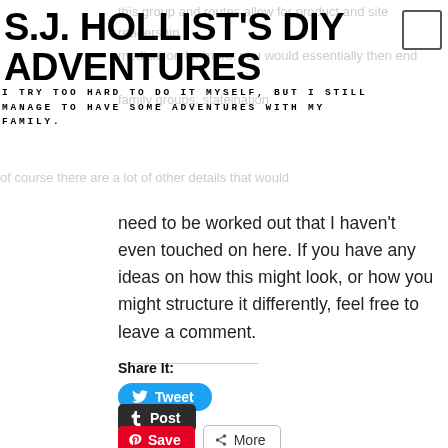S.J. HOLLIST'S DIY ADVENTURES
I TRY TOO HARD TO DO IT MYSELF, BUT I STILL MANAGE TO HAVE SOME ADVENTURES WITH MY FAMILY.
need to be worked out that I haven't even touched on here. If you have any ideas on how this might look, or how you might structure it differently, feel free to leave a comment.
Share It:
[Figure (other): Tweet button (Twitter/X), Post button (Tumblr), Save button (Pinterest), More button — social share buttons]
Like this